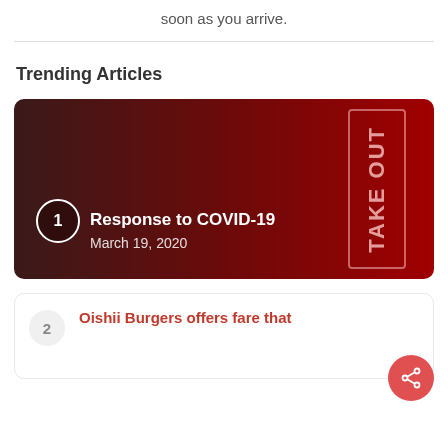soon as you arrive.
Trending Articles
[Figure (photo): Article card 1: Dark red background with a vertical 'TAKE OUT' sign on the right. Text overlay reads 'Response to COVID-19' and 'March 19, 2020' with a circled number 1 badge on the left.]
[Figure (infographic): Share button (red circle with share icon) floating at bottom right of article card 1.]
Oishii Burgers offers fare that